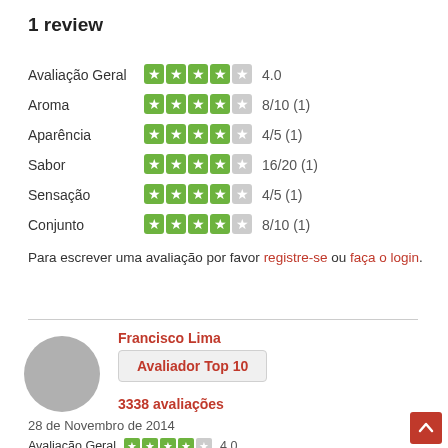1 review
| Category | Stars | Score |
| --- | --- | --- |
| Avaliação Geral | 4 stars | 4.0 |
| Aroma | 4 stars | 8/10  (1) |
| Aparência | 4 stars | 4/5  (1) |
| Sabor | 4 stars | 16/20  (1) |
| Sensação | 4 stars | 4/5  (1) |
| Conjunto | 4 stars | 8/10  (1) |
Para escrever uma avaliação por favor registre-se ou faça o login.
Francisco Lima
Avaliador Top 10
3338 avaliações
28 de Novembro de 2014
Avaliação Geral  4.0